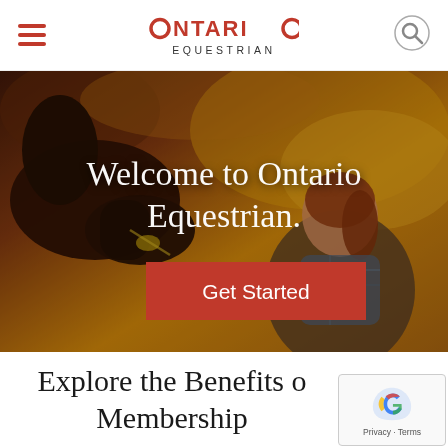Ontario Equestrian
[Figure (photo): Hero image of a woman with a horse in autumn foliage setting, with 'Welcome to Ontario Equestrian.' text overlay and a red 'Get Started' button]
Explore the Benefits of Membership